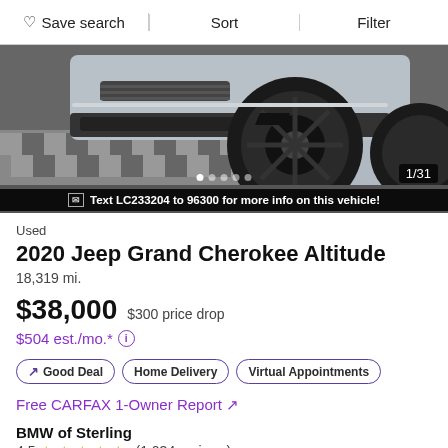Save search | Sort | Filter
[Figure (photo): Silver Jeep Grand Cherokee rear wheel and bumper area shown low angle on checkered floor. Image counter shows 1/31. Caption bar reads: Text LC233204 to 96300 for more info on this vehicle!]
Used
2020 Jeep Grand Cherokee Altitude
18,319 mi.
$38,000  $300 price drop
$504 est./mo.* ⓘ
↗ Good Deal   Home Delivery   Virtual Appointments
Free CARFAX 1-Owner Report ↗
BMW of Sterling
4.5 ★★★★½ (1,034 reviews)